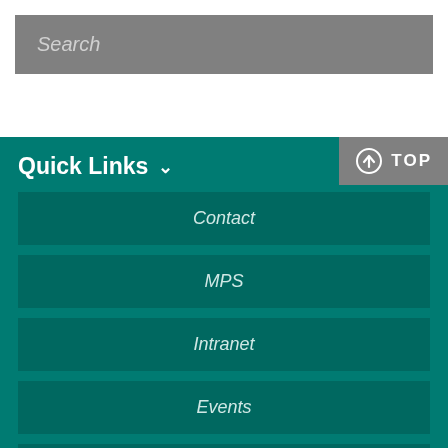Search
Quick Links
Contact
MPS
Intranet
Events
Twitter